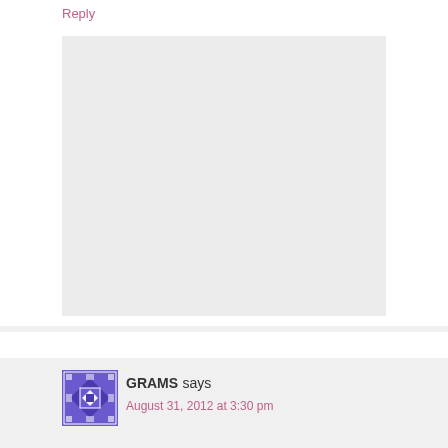Reply
[Figure (other): Large gray placeholder rectangle, likely an embedded image or media placeholder]
[Figure (illustration): Square avatar icon with purple/blue geometric quilt-like pattern]
GRAMS says
August 31, 2012 at 3:30 pm